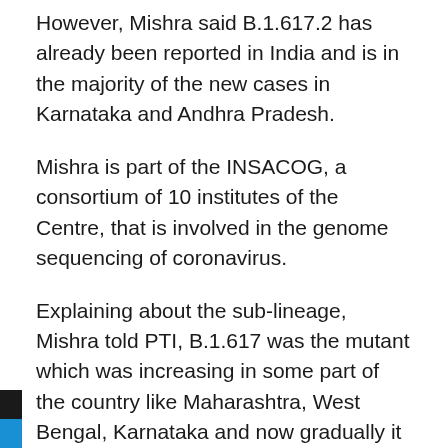However, Mishra said B.1.617.2 has already been reported in India and is in the majority of the new cases in Karnataka and Andhra Pradesh.
Mishra is part of the INSACOG, a consortium of 10 institutes of the Centre, that is involved in the genome sequencing of coronavirus.
Explaining about the sub-lineage, Mishra told PTI, B.1.617 was the mutant which was increasing in some part of the country like Maharashtra, West Bengal, Karnataka and now gradually it has led to three sub-lineages (B.1) 617.1, 617.2 and 617.3.
Among these three, B.1.617.2 is more infectious than B.1.617. That does not indicate a greater worry except the numbers are more and symptomatically. Otherwise, we have not seen any